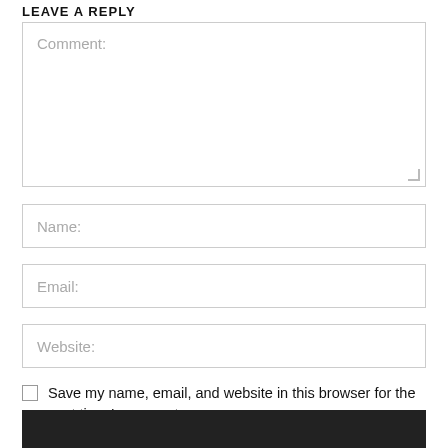LEAVE A REPLY
Comment:
Name:
Email:
Website:
Save my name, email, and website in this browser for the next time I comment.